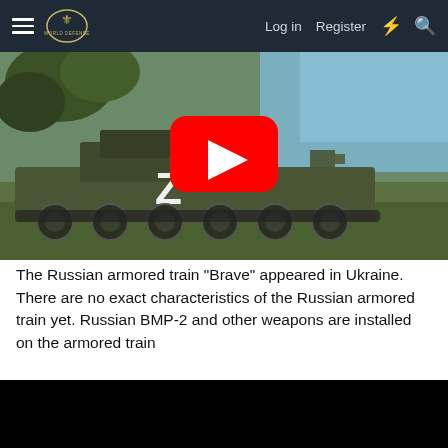Log in  Register
[Figure (screenshot): Video thumbnail showing a Russian armored vehicle with a white 'Z' marking on its side in a grassy field. A large YouTube play button (red rounded rectangle with white triangle) is overlaid in the center.]
The Russian armored train "Brave" appeared in Ukraine. There are no exact characteristics of the Russian armored train yet. Russian BMP-2 and other weapons are installed on the armored train
[Figure (screenshot): Black video player area]